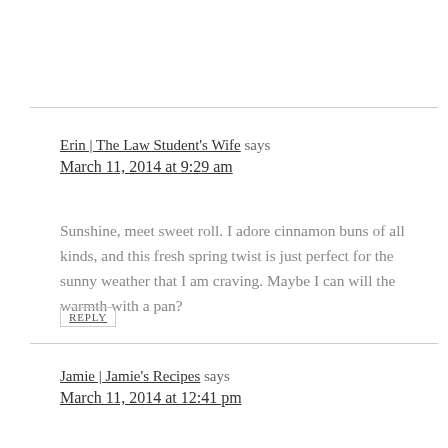Erin | The Law Student's Wife says
March 11, 2014 at 9:29 am
Sunshine, meet sweet roll. I adore cinnamon buns of all kinds, and this fresh spring twist is just perfect for the sunny weather that I am craving. Maybe I can will the warmth with a pan?
REPLY
Jamie | Jamie's Recipes says
March 11, 2014 at 12:41 pm